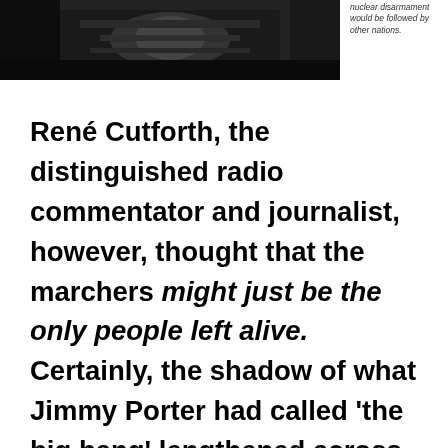[Figure (photo): Black and white photograph, dark tones, partially visible at top of page]
nuclear disarmament would be followed by other nations.
René Cutforth, the distinguished radio commentator and journalist, however, thought that the marchers might just be the only people left alive. Certainly, the shadow of what Jimmy Porter had called 'the big bang' lengthened across the whole face of 'affluent Britain' throughout this whole thirty-year period from the late